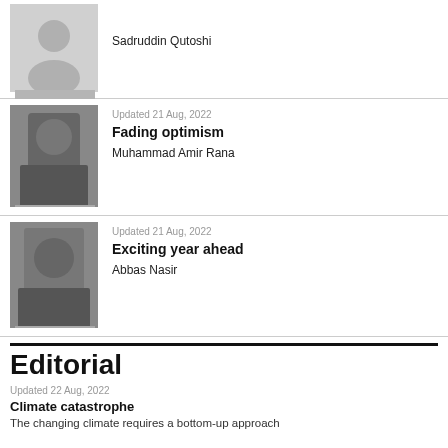[Figure (photo): Placeholder silhouette portrait of Sadruddin Qutoshi]
Sadruddin Qutoshi
Updated 21 Aug, 2022
[Figure (photo): Black and white photo of Muhammad Amir Rana]
Fading optimism
Muhammad Amir Rana
Updated 21 Aug, 2022
[Figure (photo): Black and white photo of Abbas Nasir]
Exciting year ahead
Abbas Nasir
Editorial
Updated 22 Aug, 2022
Climate catastrophe
The changing climate requires a bottom-up approach